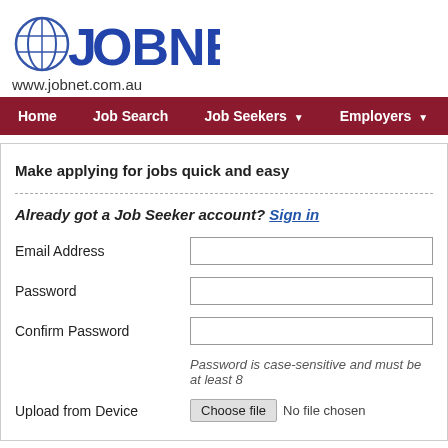[Figure (logo): JOBNET logo with globe icon and text JOBNET in blue bold letters]
www.jobnet.com.au
[Figure (screenshot): Navigation bar with dark red background containing: Home, Job Search, Job Seekers (with dropdown arrow), Employers (with dropdown arrow)]
Make applying for jobs quick and easy
Already got a Job Seeker account? Sign in
Email Address
Password
Confirm Password
Password is case-sensitive and must be at least 8
Upload from Device